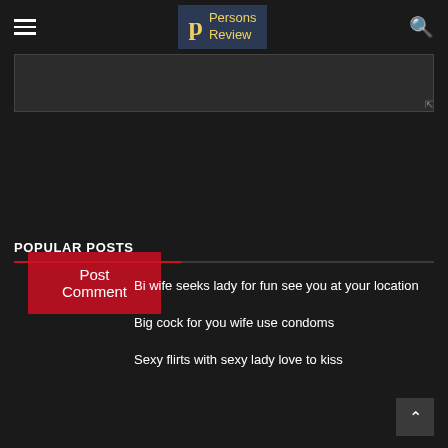Persons Review
[Figure (screenshot): Dark textarea input box for comment entry]
Post Comment
POPULAR POSTS
Bi wife seeks lady for fun see you at your location
Big cock for you wife use condoms
Sexy flirts with sexy lady love to kiss